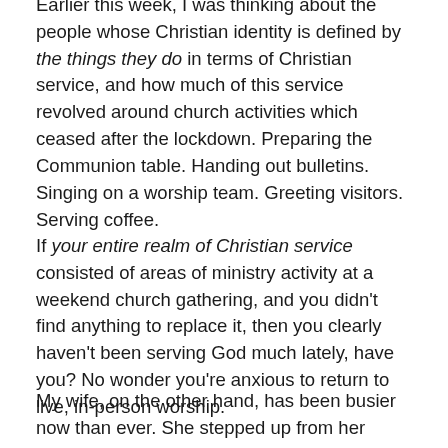Earlier this week, I was thinking about the people whose Christian identity is defined by the things they do in terms of Christian service, and how much of this service revolved around church activities which ceased after the lockdown. Preparing the Communion table. Handing out bulletins. Singing on a worship team. Greeting visitors. Serving coffee.
If your entire realm of Christian service consisted of areas of ministry activity at a weekend church gathering, and you didn't find anything to replace it, then you clearly haven't been serving God much lately, have you? No wonder you're anxious to return to live, in-person worship.
My wife, on the other hand, has been busier now than ever. She stepped up from her worship-leading focus to create a media-focus in a smaller church where none had existed previously.